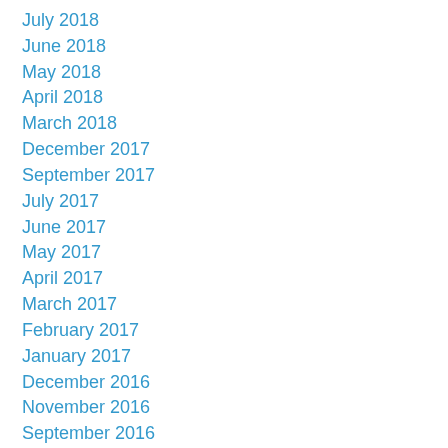July 2018
June 2018
May 2018
April 2018
March 2018
December 2017
September 2017
July 2017
June 2017
May 2017
April 2017
March 2017
February 2017
January 2017
December 2016
November 2016
September 2016
August 2016
June 2016
May 2016
April 2016